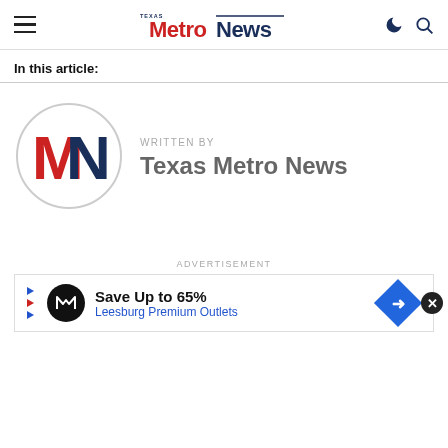Texas Metro News
In this article:
[Figure (logo): Texas Metro News circular logo with red M and dark blue N, TEXAS text on left side]
WRITTEN BY
Texas Metro News
ADVERTISEMENT
[Figure (other): Advertisement banner: Save Up to 65% Leesburg Premium Outlets]